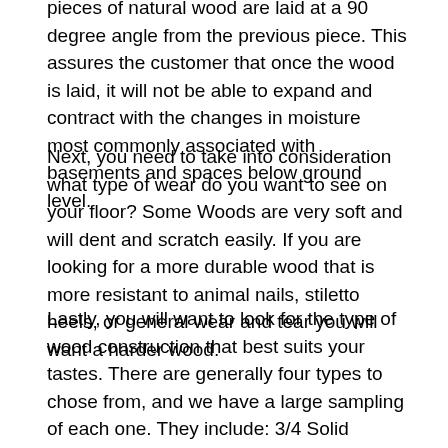pieces of natural wood are laid at a 90 degree angle from the previous piece. This assures the customer that once the wood is laid, it will not be able to expand and contract with the changes in moisture most commonly associated with basements and spaces below ground level.
Next, you need to take into consideration what type of wear do you want to see on your floor? Some Woods are very soft and will dent and scratch easily. If you are looking for a more durable wood that is more resistant to animal nails, stiletto heels, or general wear and tear you will want a harder wood.
Lastly, you will want to look for the type of wood construction that best suits your tastes. There are generally four types to chose from, and we have a large sampling of each one. They include: 3/4 Solid Hardwood Flooring (Unfinished or Pre-finished), Engineered Wood (Unfinished or Pre-finished),